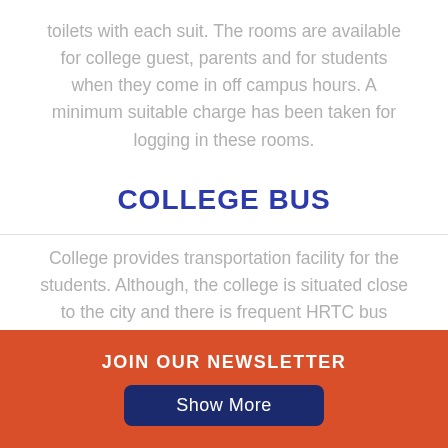toilets with each suit. The rooms are available for college guest, parents and for students when they come in off campus hours. A minimum suitable charge has been taken for logging in these rooms.
COLLEGE BUS
College provides transportation facility for the students. Although, the college is situated close to the city and there is frequent HRTC bus service facility.
JOIN OUR NEWSLETTER
Show More